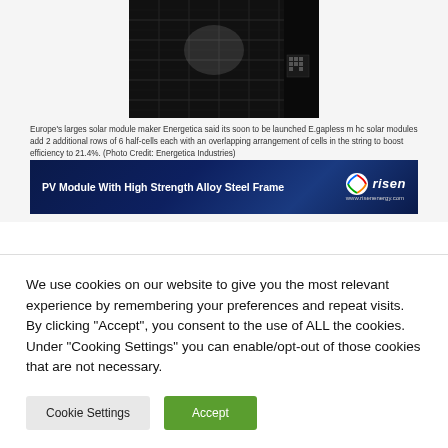[Figure (photo): Close-up photo of a solar panel module, dark colored with grid lines showing photovoltaic cells]
Europe's larges solar module maker Energetica said its soon to be launched E.gapless m hc solar modules add 2 additional rows of 6 half-cells each with an overlapping arrangement of cells in the string to boost efficiency to 21.4%. (Photo Credit: Energetica Industries)
[Figure (infographic): Advertisement banner for Risen Energy: PV Module With High Strength Alloy Steel Frame, with Risen logo and website www.risenenergy.com]
We use cookies on our website to give you the most relevant experience by remembering your preferences and repeat visits. By clicking “Accept”, you consent to the use of ALL the cookies. Under “Cooking Settings” you can enable/opt-out of those cookies that are not necessary.